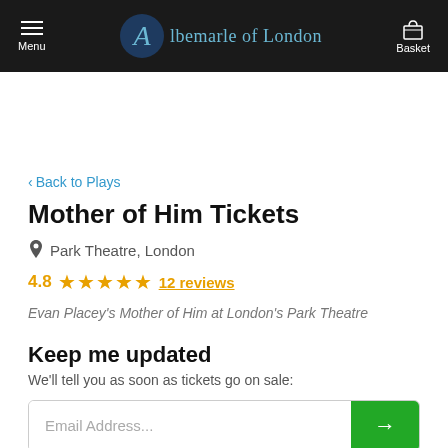Menu — Albemarle of London — Basket
Back to Plays
Mother of Him Tickets
Park Theatre, London
4.8 ★★★★★ 12 reviews
Evan Placey's Mother of Him at London's Park Theatre
Keep me updated
We'll tell you as soon as tickets go on sale:
Email Address...